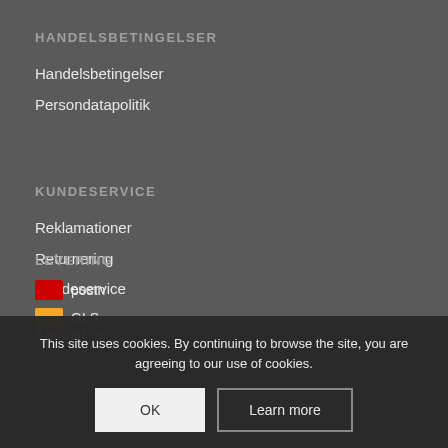HANDELSBETINGELSER
Handelsbetingelser
Persondatapolitik
KUNDESERVICE
Reklamationer
Returnering
Kundeservice
Kontakt os
LEVERING
This site uses cookies. By continuing to browse the site, you are agreeing to our use of cookies.
OK
Learn more